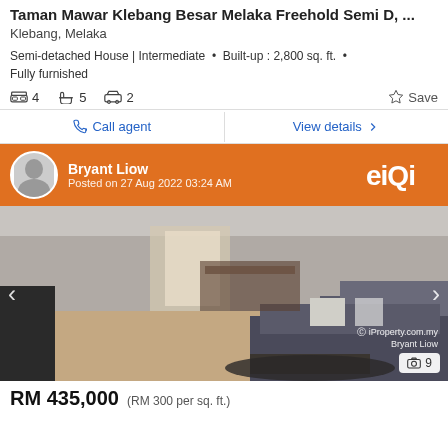Taman Mawar Klebang Besar Melaka Freehold Semi D, ...
Klebang, Melaka
Semi-detached House | Intermediate • Built-up : 2,800 sq. ft. • Fully furnished
4 bedrooms  5 bathrooms  2 car parks  Save
Call agent   View details
[Figure (photo): Property listing agent banner with Bryant Liow photo, name, posted date 27 Aug 2022 03:24 AM, and IQI logo on orange background]
[Figure (photo): Interior photo of a furnished living room with sofa, dining area in background, wooden floor. Watermark: iProperty.com.my, Bryant Liow. Photo count: 9]
RM 435,000  (RM 300 per sq. ft.)